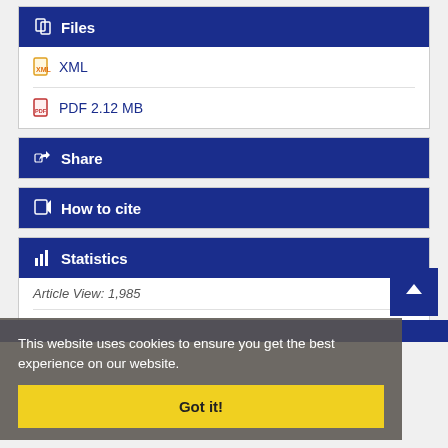Files
XML
PDF 2.12 MB
Share
How to cite
Statistics
Article View: 1,985
PDF Download: 1,565
This website uses cookies to ensure you get the best experience on our website.
Got it!